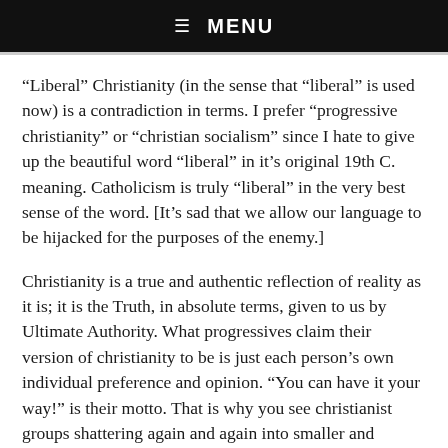☰  MENU
“Liberal” Christianity (in the sense that “liberal” is used now) is a contradiction in terms. I prefer “progressive christianity” or “christian socialism” since I hate to give up the beautiful word “liberal” in it’s original 19th C. meaning. Catholicism is truly “liberal” in the very best sense of the word. [It’s sad that we allow our language to be hijacked for the purposes of the enemy.]
Christianity is a true and authentic reflection of reality as it is; it is the Truth, in absolute terms, given to us by Ultimate Authority. What progressives claim their version of christianity to be is just each person’s own individual preference and opinion. “You can have it your way!” is their motto. That is why you see christianist groups shattering again and again into smaller and smaller sub-groups. There are literally millions of these individual, little christianities – as many as there are